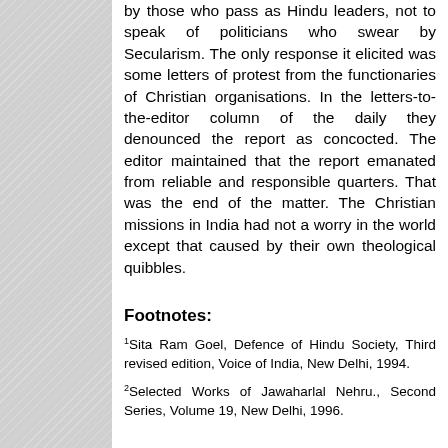by those who pass as Hindu leaders, not to speak of politicians who swear by Secularism. The only response it elicited was some letters of protest from the functionaries of Christian organisations. In the letters-to-the-editor column of the daily they denounced the report as concocted. The editor maintained that the report emanated from reliable and responsible quarters. That was the end of the matter. The Christian missions in India had not a worry in the world except that caused by their own theological quibbles.
Footnotes:
1Sita Ram Goel, Defence of Hindu Society, Third revised edition, Voice of India, New Delhi, 1994.
2Selected Works of Jawaharlal Nehru., Second Series, Volume 19, New Delhi, 1996.